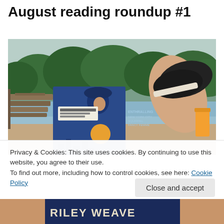August reading roundup #1
[Figure (photo): Person reclining outdoors near a lake holding a library book with an illustrated cover featuring a woman in a blue hat and city skyline. Sneakers visible propped up, trees and water in background.]
Privacy & Cookies: This site uses cookies. By continuing to use this website, you agree to their use.
To find out more, including how to control cookies, see here: Cookie Policy
[Figure (photo): Bottom strip of a second photo showing fingers holding a book with 'RILEY WEAVER' visible on the cover.]